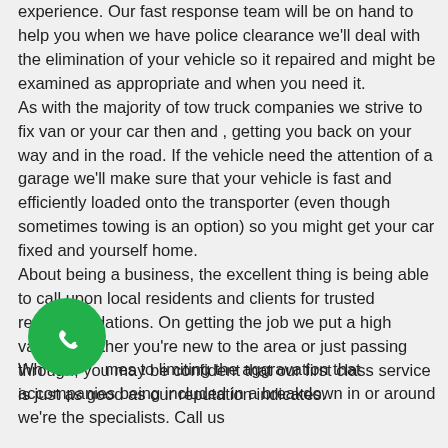experience. Our fast response team will be on hand to help you when we have police clearance we'll deal with the elimination of your vehicle so it repaired and might be examined as appropriate and when you need it. As with the majority of tow truck companies we strive to fix van or your car then and , getting you back on your way and in the road. If the vehicle need the attention of a garage we'll make sure that your vehicle is fast and efficiently loaded onto the transporter (even though sometimes towing is an option) so you might get your car fixed and yourself home. About being a business, the excellent thing is being able to call upon local residents and clients for trusted recommendations. On getting the job we put a high value. Whether you're new to the area or just passing through, you may be confident that our first class service is just as good as our reputation indicates.
[Figure (other): Green circular phone/call button icon]
Wh  mes to limiting the aggravation that accompanies being included in a breakdown in or around we're the specialists. Call us